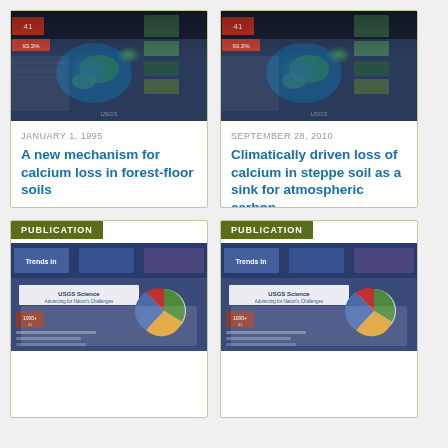[Figure (photo): USGS publication cover showing Earth from space with colored overlays and data graphics, top-left card]
JANUARY 1, 1995
A new mechanism for calcium loss in forest-floor soils
[Figure (photo): USGS publication cover showing Earth from space with colored overlays and data graphics, top-right card]
SEPTEMBER 28, 2010
Climatically driven loss of calcium in steppe soil as a sink for atmospheric carbon
PUBLICATION
[Figure (photo): USGS Science publication cover with pie chart and data graphics, bottom-left card]
PUBLICATION
[Figure (photo): USGS Science publication cover with pie chart and data graphics, bottom-right card]